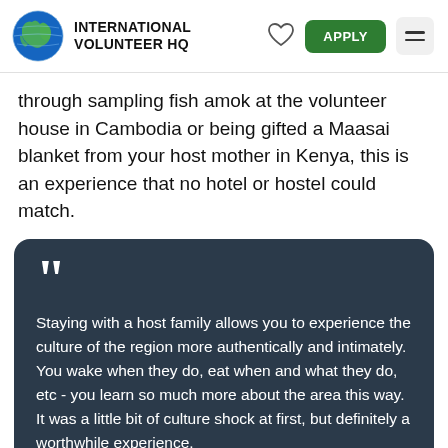INTERNATIONAL VOLUNTEER HQ
through sampling fish amok at the volunteer house in Cambodia or being gifted a Maasai blanket from your host mother in Kenya, this is an experience that no hotel or hostel could match.
Staying with a host family allows you to experience the culture of the region more authentically and intimately. You wake when they do, eat when and what they do, etc - you learn so much more about the area this way. It was a little bit of culture shock at first, but definitely a worthwhile experience. - AmberLee Brion (IVHQer in Kenya)